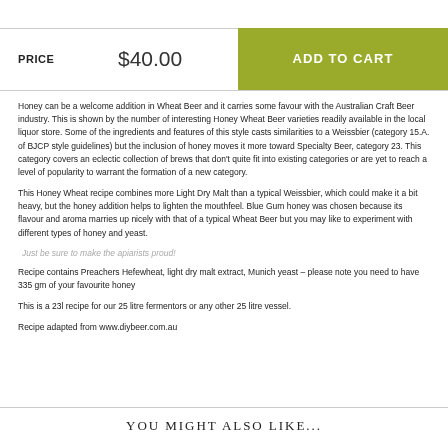PRICE   $40.00
ADD TO CART
Honey can be a welcome addition in Wheat Beer and it carries some favour with the Australian Craft Beer industry. This is shown by the number of interesting Honey Wheat Beer varieties readily available in the local liquor store. Some of the ingredients and features of this style casts similarities to a Weissbier (category 15.A. of BJCP style guidelines) but the inclusion of honey moves it more toward Specialty Beer, category 23. This category covers an eclectic collection of brews that don't quite fit into existing categories or are yet to reach a level of popularity to warrant the formation of a new category.
This Honey Wheat recipe combines more Light Dry Malt than a typical Weissbier, which could make it a bit heavy, but the honey addition helps to lighten the mouthfeel. Blue Gum honey was chosen because its flavour and aroma marries up nicely with that of a typical Wheat Beer but you may like to experiment with different types of honey and yeast.
Just be sure to make the apiarists proud!
Recipe contains Preachers Hefewheat, light dry malt extract, Munich yeast – please note you need to have 335 gm of your favourite honey
This is a 23l recipe for our 25 litre fermentors or any other 25 litre vessel.
Recipe adapted from www.diybeer.com.au
YOU MIGHT ALSO LIKE...